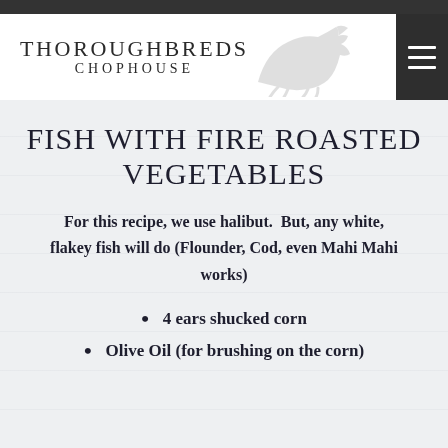THOROUGHBREDS CHOPHOUSE
FISH WITH FIRE ROASTED VEGETABLES
For this recipe, we use halibut. But, any white, flakey fish will do (Flounder, Cod, even Mahi Mahi works)
4 ears shucked corn
Olive Oil (for brushing on the corn)